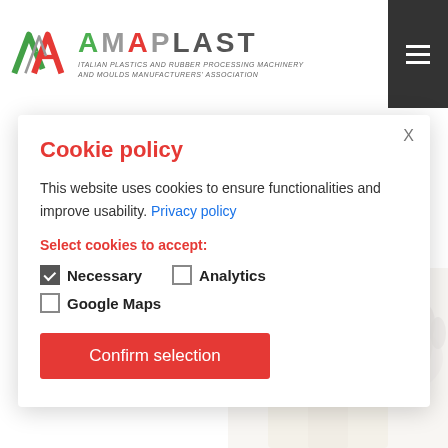[Figure (logo): AMAPLAST logo with green/red A chevron mark and grey AMAPLAST text with italic tagline: Italian Plastics and Rubber Processing Machinery and Moulds Manufacturers Association]
AMAPLAST Study Centre released the new edition of the Sector Report, containing the most important figures referred to 2021 for the Italian plastics and rubber machinery, equipment and moulds industry.
Cookie policy
This website uses cookies to ensure functionalities and improve usability. Privacy policy
Select cookies to accept:
Necessary
Analytics
Google Maps
Confirm selection